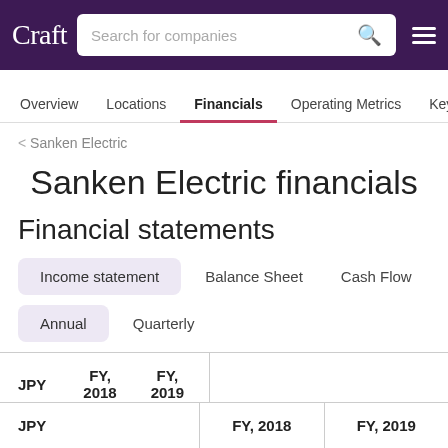Craft | Search for companies
Overview | Locations | Financials | Operating Metrics | Key P
< Sanken Electric
Sanken Electric financials
Financial statements
Income statement | Balance Sheet | Cash Flow
Annual | Quarterly
| JPY | FY, 2018 | FY, 2019 |
| --- | --- | --- |